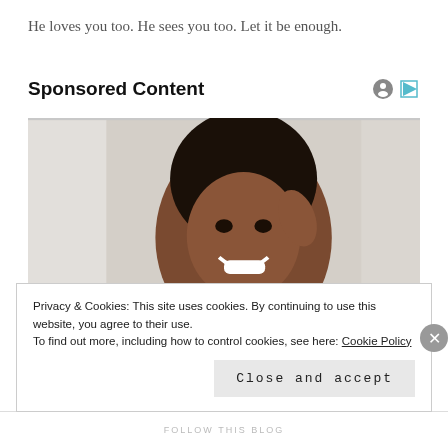He loves you too. He sees you too. Let it be enough.
Sponsored Content
[Figure (photo): Smiling woman with natural hair touching her face, bright background]
Privacy & Cookies: This site uses cookies. By continuing to use this website, you agree to their use.
To find out more, including how to control cookies, see here: Cookie Policy
Close and accept